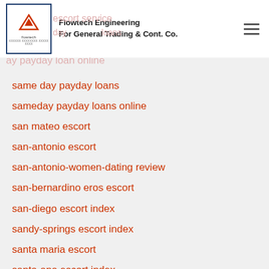Flowtech Engineering For General Trading & Cont. Co.
same day payday loans
sameday payday loans online
san mateo escort
san-antonio escort
san-antonio-women-dating review
san-bernardino eros escort
san-diego escort index
sandy-springs escort index
santa maria escort
santa-ana escort index
santa-clara escort sites